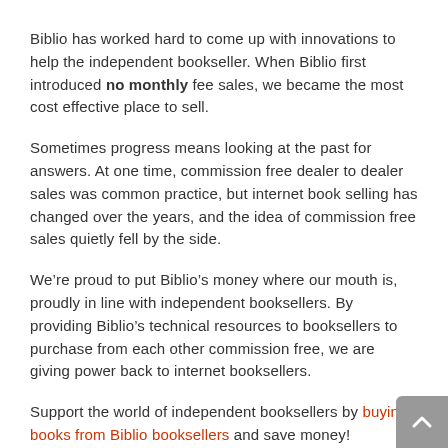Biblio has worked hard to come up with innovations to help the independent bookseller. When Biblio first introduced no monthly fee sales, we became the most cost effective place to sell.
Sometimes progress means looking at the past for answers. At one time, commission free dealer to dealer sales was common practice, but internet book selling has changed over the years, and the idea of commission free sales quietly fell by the side.
We’re proud to put Biblio’s money where our mouth is, proudly in line with independent booksellers. By providing Biblio’s technical resources to booksellers to purchase from each other commission free, we are giving power back to internet booksellers.
Support the world of independent booksellers by buying books from Biblio booksellers and save money!
Make sure that your Member Discount is at least 10% so that you will qualify for commission free sales!